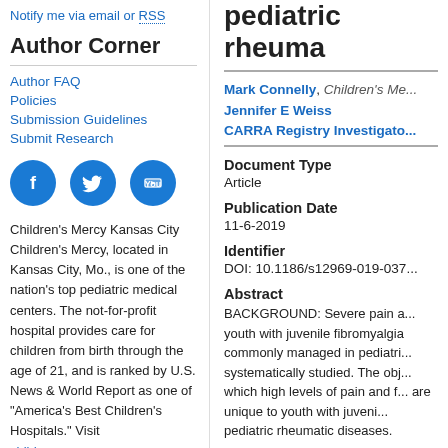Notify me via email or RSS
Author Corner
Author FAQ
Policies
Submission Guidelines
Submit Research
[Figure (illustration): Three circular social media icons: Facebook, Twitter, YouTube]
Children's Mercy Kansas City
Children's Mercy, located in Kansas City, Mo., is one of the nation's top pediatric medical centers. The not-for-profit hospital provides care for children from birth through the age of 21, and is ranked by U.S. News & World Report as one of "America's Best Children's Hospitals." Visit childrensmercy.org
pediatric rheuma...
Mark Connelly, Children's Me... Jennifer E Weiss CARRA Registry Investigato...
Document Type
Article
Publication Date
11-6-2019
Identifier
DOI: 10.1186/s12969-019-037...
Abstract
BACKGROUND: Severe pain a... youth with juvenile fibromyalgia commonly managed in pediatri... systematically studied. The obj... which high levels of pain and f... are unique to youth with juveni... pediatric rheumatic diseases.

METHODS: Using data from 7...